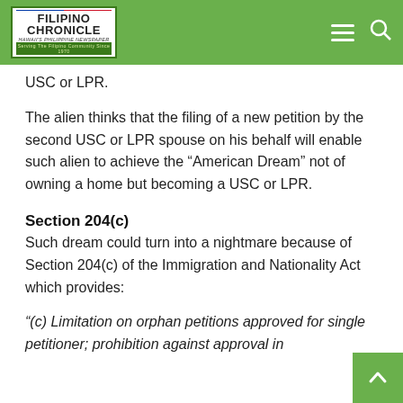Filipino Chronicle
USC or LPR.
The alien thinks that the filing of a new petition by the second USC or LPR spouse on his behalf will enable such alien to achieve the “American Dream” not of owning a home but becoming a USC or LPR.
Section 204(c)
Such dream could turn into a nightmare because of Section 204(c) of the Immigration and Nationality Act which provides:
“(c) Limitation on orphan petitions approved for single petitioner; prohibition against approval in